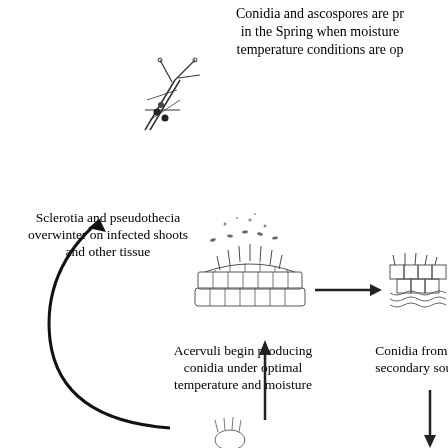[Figure (flowchart): Disease cycle diagram showing fungal lifecycle. Top center text describes conidia and ascospores produced in Spring. Upper left shows an illustration of an infected shoot. Left side text describes sclerotia and pseudothecia overwintering on infected shoots and other tissue. Center shows acervuli illustration with spores dispersing upward, with arrow pointing right to another fungal structure. Below center text describes acervuli producing conidia under optimal temperature and moisture. Right side partially visible text describes conidia from acervuli as secondary source. Arrows indicate cycle: large curved arrow on left going downward, upward arrow below center, downward arrow at bottom right.]